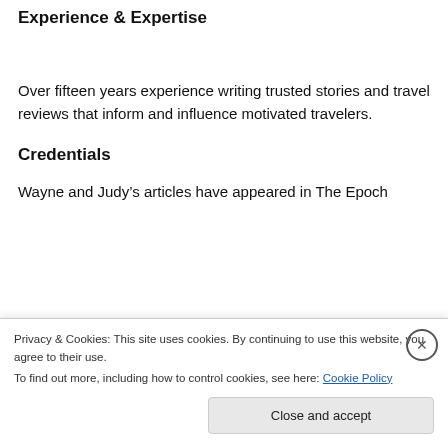Experience & Expertise
Over fifteen years experience writing trusted stories and travel reviews that inform and influence motivated travelers.
Credentials
Wayne and Judy's articles have appeared in The Epoch Times, Costco and Saveur, Page Famil, National...
Privacy & Cookies: This site uses cookies. By continuing to use this website, you agree to their use.
To find out more, including how to control cookies, see here: Cookie Policy
Close and accept